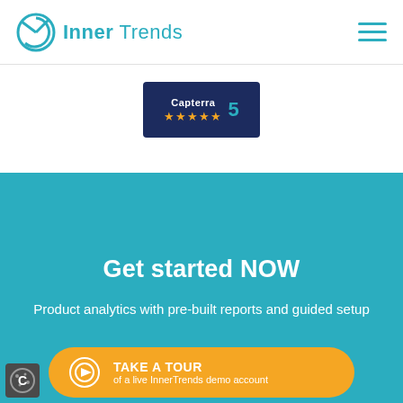Inner Trends
[Figure (logo): Capterra review badge showing 5 gold stars and the number 5]
Get started NOW
Product analytics with pre-built reports and guided setup
[Figure (other): Orange pill-shaped CTA button with tour icon: TAKE A TOUR of a live InnerTrends demo account]